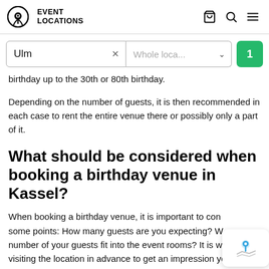EVENT LOCATIONS
birthday up to the 30th or 80th birthday.
Depending on the number of guests, it is then recommended in each case to rent the entire venue there or possibly only a part of it.
What should be considered when booking a birthday venue in Kassel?
When booking a birthday venue, it is important to consider some points: How many guests are you expecting? Will the number of your guests fit into the event rooms? It is worth visiting the location in advance to get an impression yourself